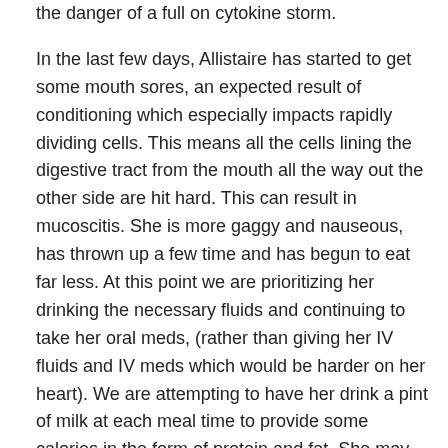the danger of a full on cytokine storm.

In the last few days, Allistaire has started to get some mouth sores, an expected result of conditioning which especially impacts rapidly dividing cells.  This means all the cells lining the digestive tract from the mouth all the way out the other side are hit hard.  This can result in mucoscitis.  She is more gaggy and nauseous, has thrown up a few time and has begun to eat far less.  At this point we are prioritizing her drinking the necessary fluids and continuing to take her oral meds, (rather than giving her IV fluids and IV meds which would be harder on her heart).  We are attempting to have her drink a pint of milk at each meal time to provide some calories in the form of protein and fat.  She may soon require her nutrition to be converted to TPN and lipids which are essentially IV forms of sustenance.